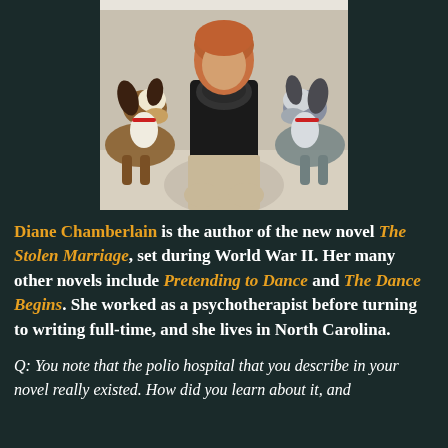[Figure (photo): Woman in black top sitting with two collie/sheltie dogs on either side, one brown-and-white on the left and one blue merle on the right]
Diane Chamberlain is the author of the new novel The Stolen Marriage, set during World War II. Her many other novels include Pretending to Dance and The Dance Begins. She worked as a psychotherapist before turning to writing full-time, and she lives in North Carolina.
Q: You note that the polio hospital that you describe in your novel really existed. How did you learn about it, and